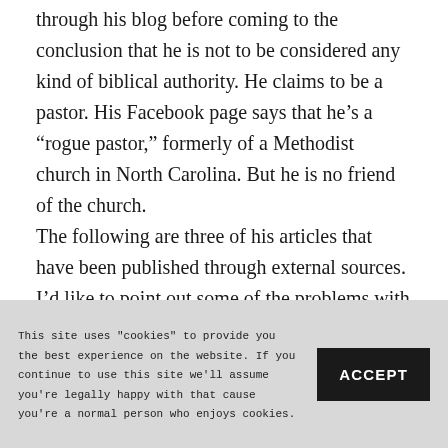through his blog before coming to the conclusion that he is not to be considered any kind of biblical authority. He claims to be a pastor. His Facebook page says that he's a “rogue pastor,” formerly of a Methodist church in North Carolina. But he is no friend of the church.

The following are three of his articles that have been published through external sources. I’d like to point out some of the problems with the stuff he writes so that
This site uses "cookies" to provide you the best experience on the website. If you continue to use this site we'll assume you're legally happy with that cause you're a normal person who enjoys cookies.